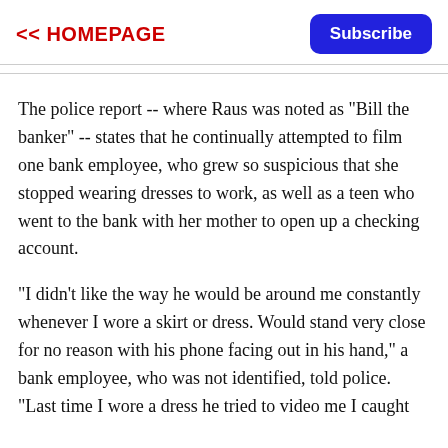<< HOMEPAGE   Subscribe
The police report -- where Raus was noted as "Bill the banker" -- states that he continually attempted to film one bank employee, who grew so suspicious that she stopped wearing dresses to work, as well as a teen who went to the bank with her mother to open up a checking account.
"I didn't like the way he would be around me constantly whenever I wore a skirt or dress. Would stand very close for no reason with his phone facing out in his hand," a bank employee, who was not identified, told police. "Last time I wore a dress he tried to video me I caught